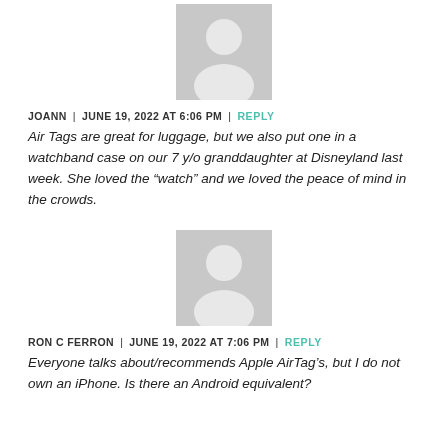[Figure (illustration): Default user avatar placeholder — grey silhouette of a person on light grey background]
JOANN | JUNE 19, 2022 AT 6:06 PM | REPLY
Air Tags are great for luggage, but we also put one in a watchband case on our 7 y/o granddaughter at Disneyland last week. She loved the “watch” and we loved the peace of mind in the crowds.
[Figure (illustration): Default user avatar placeholder — grey silhouette of a person on light grey background]
RON C FERRON | JUNE 19, 2022 AT 7:06 PM | REPLY
Everyone talks about/recommends Apple AirTag’s, but I do not own an iPhone. Is there an Android equivalent?